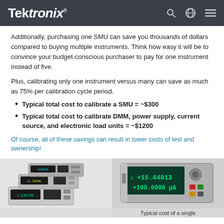Tektronix
Additionally, purchasing one SMU can save you thousands of dollars compared to buying multiple instruments. Think how easy it will be to convince your budget-conscious purchaser to pay for one instrument instead of five.
Plus, calibrating only one instrument versus many can save as much as 75% per calibration cycle period.
Typical total cost to calibrate a SMU = ~$300
Typical total cost to calibrate DMM, power supply, current source, and electronic load units = ~$1200
Of course, all of these savings can result in lower costs of test and ownership!
[Figure (photo): Multiple Keithley test instruments stacked together (DMM, power supply, current source, electronic load units)]
[Figure (photo): Single SMU instrument displaying +15.44013 and +100.0000 uA readings]
Typical cost of a single